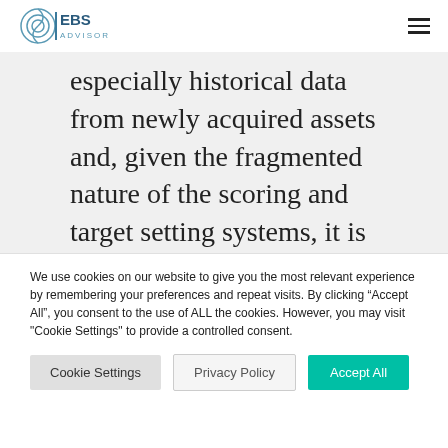EBS ADVISORY
especially historical data from newly acquired assets and, given the fragmented nature of the scoring and target setting systems, it is very difficult to compare and correlate. The same sustainability path can score differently
We use cookies on our website to give you the most relevant experience by remembering your preferences and repeat visits. By clicking “Accept All”, you consent to the use of ALL the cookies. However, you may visit "Cookie Settings" to provide a controlled consent.